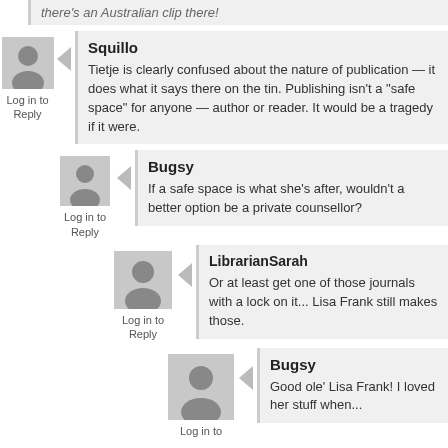there's an Australian clip there!
Squillo
Tietje is clearly confused about the nature of publication — it does what it says there on the tin. Publishing isn't a "safe space" for anyone — author or reader. It would be a tragedy if it were.
Bugsy
If a safe space is what she's after, wouldn't a better option be a private counsellor?
LibrarianSarah
Or at least get one of those journals with a lock on it... Lisa Frank still makes those.
Bugsy
Good ole' Lisa Frank! I loved her stuff when...